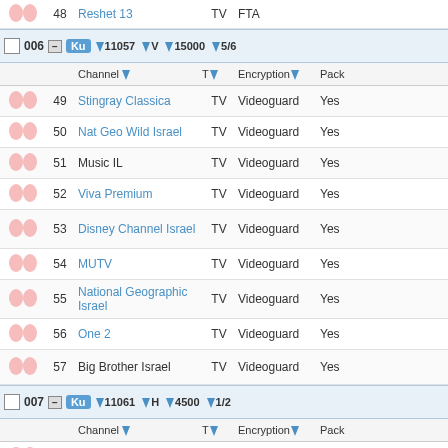|  | # | Channel | T | Encryption | Pack |
| --- | --- | --- | --- | --- | --- |
|  | 48 | Reshet 13 | TV | FTA |  |
| GROUP 006 | Ku | 11057 | V | 15000 | 5/6 |
|  | Channel | T | Encryption | Pack |  |
|  | 49 | Stingray Classica | TV | Videoguard | Yes |
|  | 50 | Nat Geo Wild Israel | TV | Videoguard | Yes |
|  | 51 | Music IL | TV | Videoguard | Yes |
|  | 52 | Viva Premium | TV | Videoguard | Yes |
|  | 53 | Disney Channel Israel | TV | Videoguard | Yes |
|  | 54 | MUTV | TV | Videoguard | Yes |
|  | 55 | National Geographic Israel | TV | Videoguard | Yes |
|  | 56 | One 2 | TV | Videoguard | Yes |
|  | 57 | Big Brother Israel | TV | Videoguard | Yes |
| GROUP 007 | Ku | 11061 | H | 4500 | 1/2 |
|  | Channel | T | Encryption | Pack |  |
|  | 58 | METV | TV | FTA |  |
|  | 59 | ISN | TV | FTA |  |
| GROUP 008 | Ku | 11080 | V | 10415 | 3/4 |